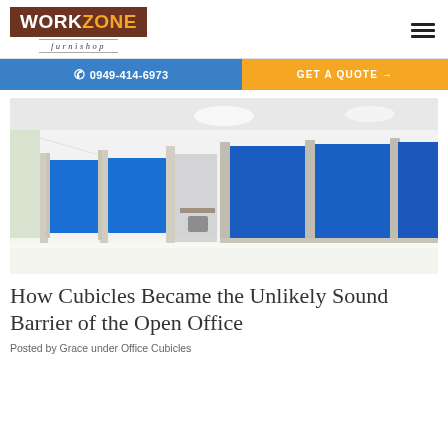[Figure (logo): WorkZone Furnishop logo — brown background with WORK in white and ZONE in orange, italic furnishop text below]
☎ 0949-414-6973
GET A QUOTE →
[Figure (photo): Office cubicles with bright blue fabric panels and silver/aluminum frames in a white-floored open office space]
How Cubicles Became the Unlikely Sound Barrier of the Open Office
Posted by Grace under Office Cubicles